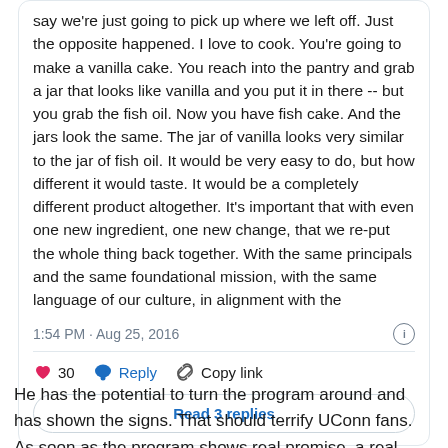say we're just going to pick up where we left off. Just the opposite happened. I love to cook. You're going to make a vanilla cake. You reach into the pantry and grab a jar that looks like vanilla and you put it in there -- but you grab the fish oil. Now you have fish cake. And the jars look the same. The jar of vanilla looks very similar to the jar of fish oil. It would be very easy to do, but how different it would taste. It would be a completely different product altogether. It's important that with even one new ingredient, one new change, that we re-put the whole thing back together. With the same principals and the same foundational mission, with the same language of our culture, in alignment with the
1:54 PM · Aug 25, 2016
30  Reply  Copy link
Read 3 replies
He has the potential to turn the program around and has shown the signs. That should terrify UConn fans. As soon as the program shows real promise, a real football power will